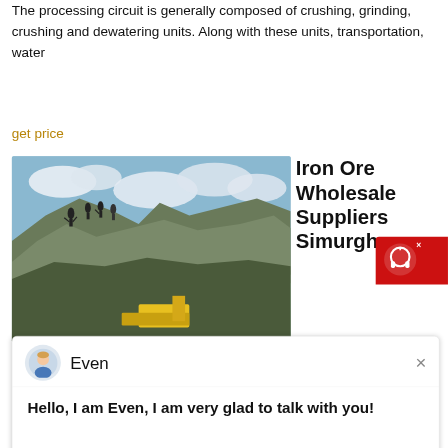The processing circuit is generally composed of crushing, grinding, crushing and dewatering units. Along with these units, transportation, water
get price
[Figure (photo): Outdoor photo showing workers standing on a rocky hilltop with construction/mining equipment and yellow machinery below against a cloudy sky.]
Iron Ore Wholesale Suppliers Simurgh
[Figure (screenshot): Chat popup with avatar icon, agent name 'Even', and message: Hello, I am Even, I am very glad to talk with you!]
make low-grade and low-quality iron ore standard. iron ore prices makes it possible to reuse waste iron ore. The concentrate is in powder form and used in the steel industry. It can be noted that high-quality iron ore concentrate is used to produce various types of pellets, sponge iron, and other metal products. The concentrate is very important in
get price
Iron Ore Imports